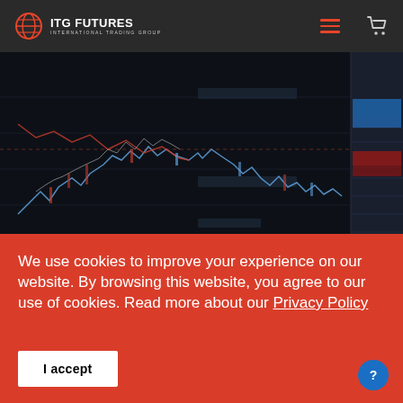ITG FUTURES - INTERNATIONAL TRADING GROUP
[Figure (screenshot): Dark-themed trading chart screenshot showing candlestick/line chart with price data, order book levels on the right side with blue and red highlight areas, on a black background.]
We use cookies to improve your experience on our website. By browsing this website, you agree to our use of cookies. Read more about our Privacy Policy
I accept